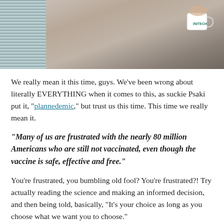[Figure (photo): Photo of a person in a blazer and patterned tie holding a white mug with a logo, standing near office cubicle partitions]
We really mean it this time, guys. We've been wrong about literally EVERYTHING when it comes to this, as suckie Psaki put it, “plannedemic,” but trust us this time. This time we really mean it.
“Many of us are frustrated with the nearly 80 million Americans who are still not vaccinated, even though the vaccine is safe, effective and free.”
You’re frustrated, you bumbling old fool? You’re frustrated?! Try actually reading the science and making an informed decision, and then being told, basically, “It’s your choice as long as you choose what we want you to choose.”